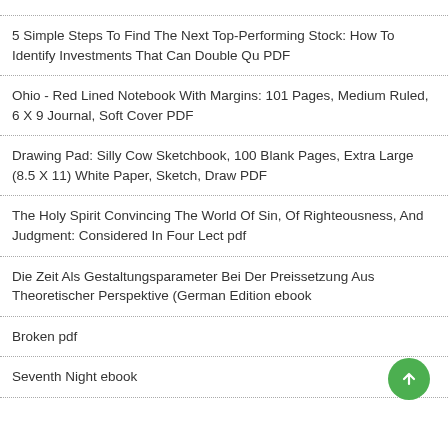5 Simple Steps To Find The Next Top-Performing Stock: How To Identify Investments That Can Double Qu PDF
Ohio - Red Lined Notebook With Margins: 101 Pages, Medium Ruled, 6 X 9 Journal, Soft Cover PDF
Drawing Pad: Silly Cow Sketchbook, 100 Blank Pages, Extra Large (8.5 X 11) White Paper, Sketch, Draw PDF
The Holy Spirit Convincing The World Of Sin, Of Righteousness, And Judgment: Considered In Four Lect pdf
Die Zeit Als Gestaltungsparameter Bei Der Preissetzung Aus Theoretischer Perspektive (German Edition ebook
Broken pdf
Seventh Night ebook